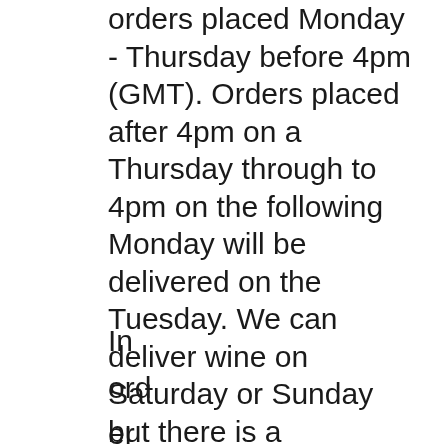orders placed Monday - Thursday before 4pm (GMT). Orders placed after 4pm on a Thursday through to 4pm on the following Monday will be delivered on the Tuesday. We can deliver wine on Saturday or Sunday but there is a surcharge for this service.
In ord er for our win e to bo